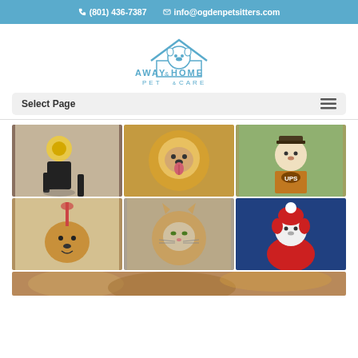(801) 436-7387  info@ogdenpetsitters.com
[Figure (logo): Away & Home Pet Care logo with cartoon dog under a roof]
Select Page
[Figure (photo): Grid of 6 photos showing dogs in costumes: dog with tennis ball head, golden retriever with lion mane, dog dressed as UPS driver, dog with fork hat, small dog in lion mane, dog in red costume with hat]
[Figure (photo): Partial bottom photo of a dog with golden fur]